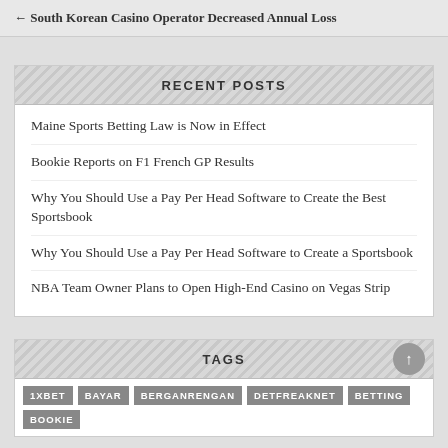← South Korean Casino Operator Decreased Annual Loss
RECENT POSTS
Maine Sports Betting Law is Now in Effect
Bookie Reports on F1 French GP Results
Why You Should Use a Pay Per Head Software to Create the Best Sportsbook
Why You Should Use a Pay Per Head Software to Create a Sportsbook
NBA Team Owner Plans to Open High-End Casino on Vegas Strip
TAGS
1XBET BAYAR BERGANRENGAN DETFREAKNET BETTING BOOKIE